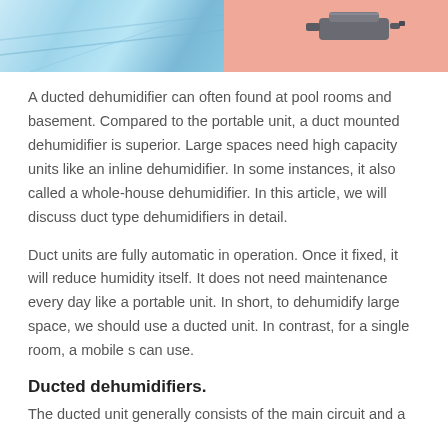[Figure (photo): Split image: left half shows blue textured surface (possibly pool or fabric), right half shows a salmon/pink background with a grey ducted dehumidifier unit]
A ducted dehumidifier can often found at pool rooms and basement. Compared to the portable unit, a duct mounted dehumidifier is superior. Large spaces need high capacity units like an inline dehumidifier. In some instances, it also called a whole-house dehumidifier. In this article, we will discuss duct type dehumidifiers in detail.
Duct units are fully automatic in operation. Once it fixed, it will reduce humidity itself. It does not need maintenance every day like a portable unit. In short, to dehumidify large space, we should use a ducted unit. In contrast, for a single room, a mobile s can use.
Ducted dehumidifiers.
The ducted unit generally consists of the main circuit and a